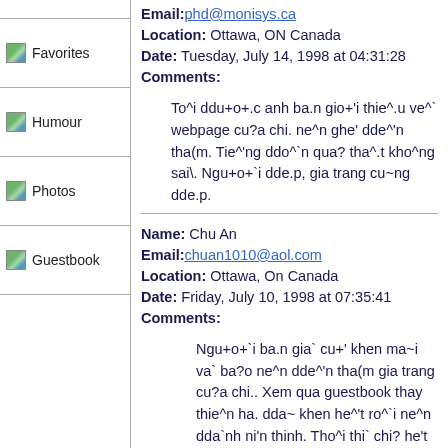Favorites
Humour
Photos
Guestbook
Email: phd@monisys.ca
Location: Ottawa, ON Canada
Date: Tuesday, July 14, 1998 at 04:31:28
Comments:
To^i ddu+o+.c anh ba.n gio+'i thie^.u ve^` webpage cu?a chi. ne^n ghe' dde^'n tha(m. Tie^'ng ddo^`n qua? tha^.t kho^ng sai\. Ngu+o+`i dde.p, gia trang cu~ng dde.p.
Name: Chu An
Email: chuan1010@aol.com
Location: Ottawa, On Canada
Date: Friday, July 10, 1998 at 07:35:41
Comments:
Ngu+o+`i ba.n gia` cu+' khen ma~i va` ba?o ne^n dde^'n tha(m gia trang cu?a chi.. Xem qua guestbook thay thie^n ha. dda~ khen he^'t ro^`i ne^n dda`nh ni'n thinh. Tho^i thi` chi? he't le^n mo^.t tie^'ng "TUYE^.T" I'll be